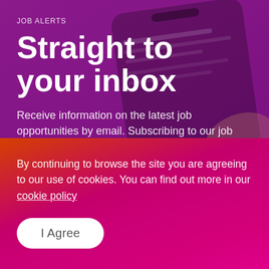[Figure (screenshot): Purple background with a faded phone screen showing an email/list interface, used as a decorative background for a job alerts promotional page]
JOB ALERTS
Straight to your inbox
Receive information on the latest job opportunities by email. Subscribing to our job alert service is convenient
By continuing to browse the site you are agreeing to our use of cookies. You can find out more in our cookie policy
I Agree